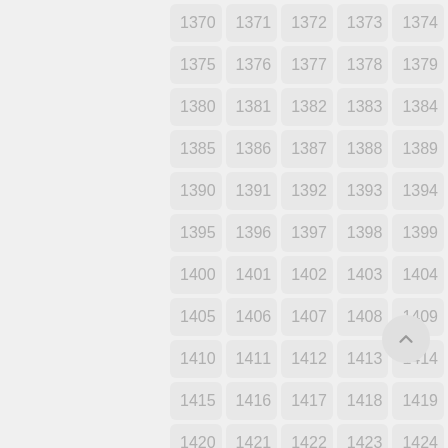[Figure (other): Grid of numbered cells from 1370 to 1424 arranged in 5 columns and 11 rows, each number displayed in a light gray rounded rectangle. A scroll-to-top circular button is visible in the lower right area.]